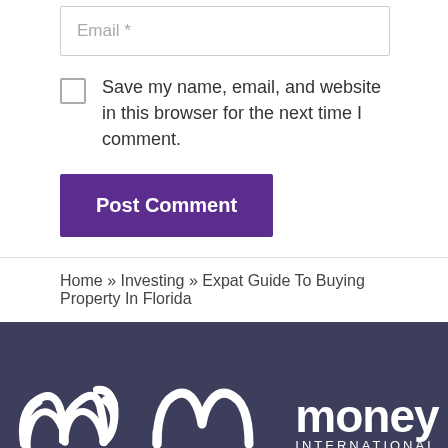Email *
Save my name, email, and website in this browser for the next time I comment.
Post Comment
Home » Investing » Expat Guide To Buying Property In Florida
[Figure (logo): Money International logo: stylized 'm' icon in white on dark navy background with 'money INTERNATIONAL' text in white]